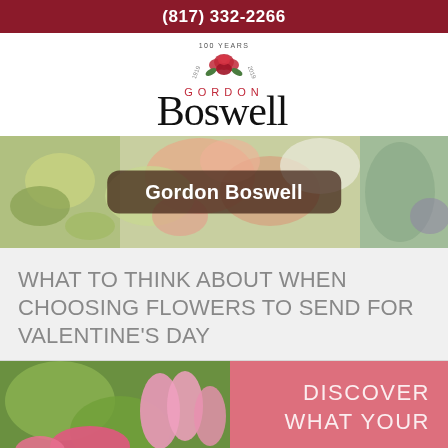(817) 332-2266
[Figure (logo): Gordon Boswell Flowers logo with rose and '100 Years' badge above the text 'GORDON Boswell']
[Figure (photo): Colorful flower arrangement banner with a dark rounded label overlay reading 'Gordon Boswell']
WHAT TO THINK ABOUT WHEN CHOOSING FLOWERS TO SEND FOR VALENTINE'S DAY
[Figure (photo): Photo of pink flowers and tulips on the left, pink background on the right with text 'DISCOVER WHAT YOUR']